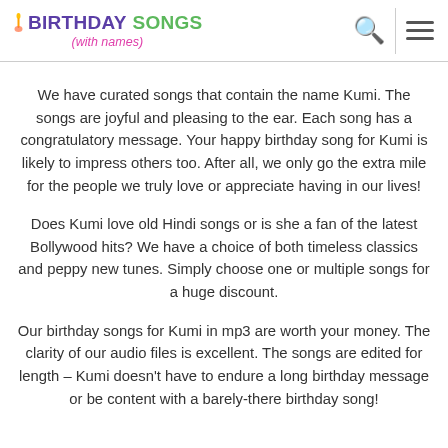BIRTHDAY SONGS (with names)
We have curated songs that contain the name Kumi. The songs are joyful and pleasing to the ear. Each song has a congratulatory message. Your happy birthday song for Kumi is likely to impress others too. After all, we only go the extra mile for the people we truly love or appreciate having in our lives!
Does Kumi love old Hindi songs or is she a fan of the latest Bollywood hits? We have a choice of both timeless classics and peppy new tunes. Simply choose one or multiple songs for a huge discount.
Our birthday songs for Kumi in mp3 are worth your money. The clarity of our audio files is excellent. The songs are edited for length – Kumi doesn't have to endure a long birthday message or be content with a barely-there birthday song!